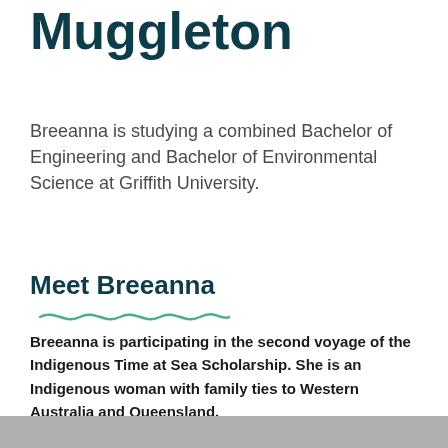Muggleton
Breeanna is studying a combined Bachelor of Engineering and Bachelor of Environmental Science at Griffith University.
Meet Breeanna
Breeanna is participating in the second voyage of the Indigenous Time at Sea Scholarship. She is an Indigenous woman with family ties to Western Australia and Queensland.
[Figure (photo): Bottom edge of a photograph, partially visible]